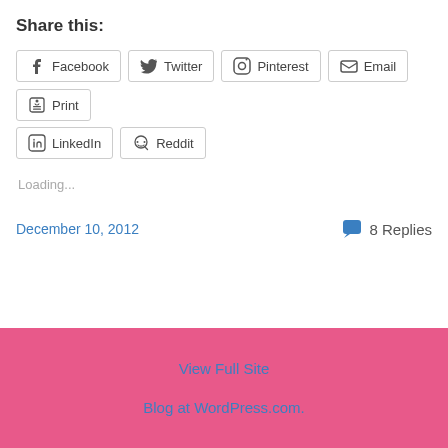Share this:
Facebook Twitter Pinterest Email Print LinkedIn Reddit
Loading...
December 10, 2012
8 Replies
View Full Site
Blog at WordPress.com.